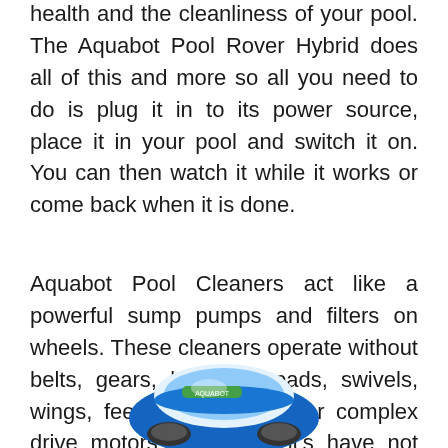health and the cleanliness of your pool. The Aquabot Pool Rover Hybrid does all of this and more so all you need to do is plug it in to its power source, place it in your pool and switch it on. You can then watch it while it works or come back when it is done.
Aquabot Pool Cleaners act like a powerful sump pumps and filters on wheels. These cleaners operate without belts, gears, bearings, pads, swivels, wings, feet, hoses, shoes or complex drive motors that's why it's have not any annual repair expenses.
[Figure (photo): Partial image of an Aquabot pool cleaner robot at the bottom of the page, showing blue and white colors.]